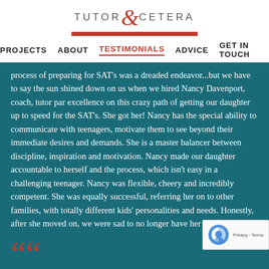TUTOR & CETERA
PROJECTS  ABOUT  TESTIMONIALS  ADVICE  GET IN TOUCH
process of preparing for SAT's was a dreaded endeavor...but we have to say the sun shined down on us when we hired Nancy Davenport, coach, tutor par excellence on this crazy path of getting our daughter up to speed for the SAT's. She got her! Nancy has the special ability to communicate with teenagers, motivate them to see beyond their immediate desires and demands. She is a master balancer between discipline, inspiration and motivation. Nancy made our daughter accountable to herself and the process, which isn't easy in a challenging teenager. Nancy was flexible, cheery and incredibly competent. She was equally successful, referring her on to other families, with totally different kids' personalities and needs. Honestly, after she moved on, we were sad to no longer have her around!